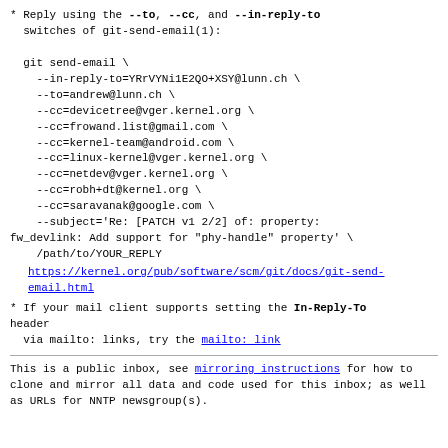* Reply using the --to, --cc, and --in-reply-to
  switches of git-send-email(1):

  git send-email \
    --in-reply-to=YRrVYNi1E2QO+XSY@lunn.ch \
    --to=andrew@lunn.ch \
    --cc=devicetree@vger.kernel.org \
    --cc=frowand.list@gmail.com \
    --cc=kernel-team@android.com \
    --cc=linux-kernel@vger.kernel.org \
    --cc=netdev@vger.kernel.org \
    --cc=robh+dt@kernel.org \
    --cc=saravanak@google.com \
    --subject='Re: [PATCH v1 2/2] of: property:
fw_devlink: Add support for "phy-handle" property' \
    /path/to/YOUR_REPLY
https://kernel.org/pub/software/scm/git/docs/git-send-email.html
* If your mail client supports setting the In-Reply-To header
  via mailto: links, try the mailto: link
This is a public inbox, see mirroring instructions
for how to clone and mirror all data and code used for
this inbox;
as well as URLs for NNTP newsgroup(s).